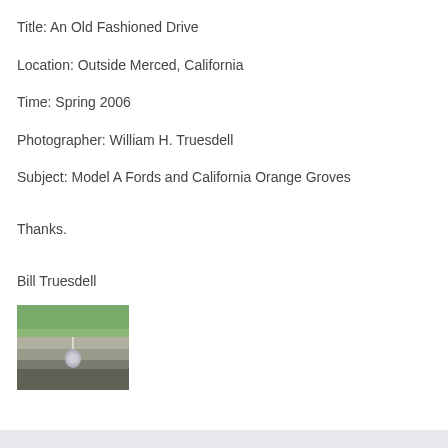Title: An Old Fashioned Drive
Location: Outside Merced, California
Time: Spring 2006
Photographer: William H. Truesdell
Subject: Model A Fords and California Orange Groves
Thanks.
Bill Truesdell
[Figure (photo): View from the hood of a classic car driving on a rural road in California, with a chrome hood ornament visible in the foreground and green vegetation along the roadside.]